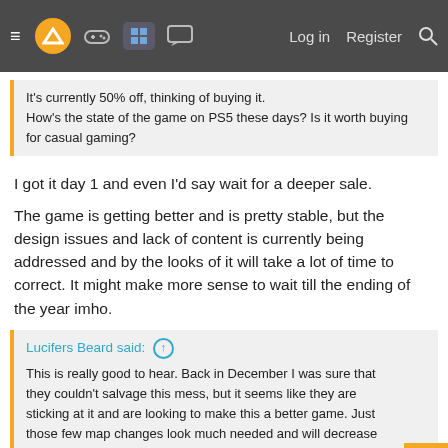≡ [logo] [gamepad] [grid] [chat]   Log in   Register   🔍
It's currently 50% off, thinking of buying it.
How's the state of the game on PS5 these days? Is it worth buying for casual gaming?
I got it day 1 and even I'd say wait for a deeper sale.
The game is getting better and is pretty stable, but the design issues and lack of content is currently being addressed and by the looks of it will take a lot of time to correct. It might make more sense to wait till the ending of the year imho.
Lucifers Beard said: ↑
This is really good to hear. Back in December I was sure that they couldn't salvage this mess, but it seems like they are sticking at it and are looking to make this a better game. Just those few map changes look much needed and will decrease the amount of traversal necessary to get to the points. Add in some much needed cover and this will hopefully change the game around for the better. If they can follow through with all of this then I'll for sure